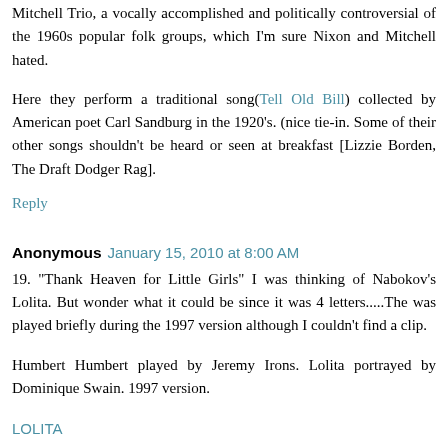Mitchell Trio, a vocally accomplished and politically controversial of the 1960s popular folk groups, which I'm sure Nixon and Mitchell hated.
Here they perform a traditional song(Tell Old Bill) collected by American poet Carl Sandburg in the 1920's. (nice tie-in. Some of their other songs shouldn't be heard or seen at breakfast [Lizzie Borden, The Draft Dodger Rag].
Reply
Anonymous January 15, 2010 at 8:00 AM
19. "Thank Heaven for Little Girls" I was thinking of Nabokov's Lolita. But wonder what it could be since it was 4 letters.....The was played briefly during the 1997 version although I couldn't find a clip.
Humbert Humbert played by Jeremy Irons. Lolita portrayed by Dominique Swain. 1997 version.
LOLITA